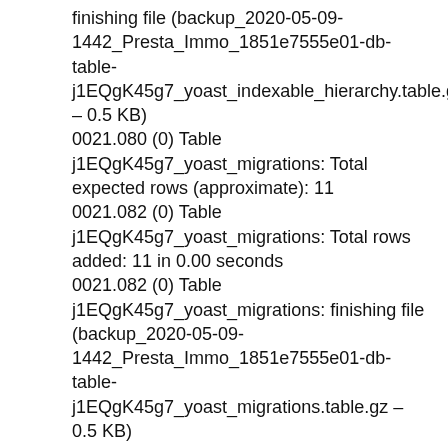finishing file (backup_2020-05-09-1442_Presta_Immo_1851e7555e01-db-table-j1EQgK45g7_yoast_indexable_hierarchy.table.gz – 0.5 KB)
0021.080 (0) Table j1EQgK45g7_yoast_migrations: Total expected rows (approximate): 11
0021.082 (0) Table j1EQgK45g7_yoast_migrations: Total rows added: 11 in 0.00 seconds
0021.082 (0) Table j1EQgK45g7_yoast_migrations: finishing file (backup_2020-05-09-1442_Presta_Immo_1851e7555e01-db-table-j1EQgK45g7_yoast_migrations.table.gz – 0.5 KB)
0021.085 (0) Table j1EQgK45g7_yoast_primary_term: Total expected rows (approximate): 0
0021.086 (0) Table j1EQgK45g7_yoast_primary_term: Total rows added: 0 in 0.00 seconds
0021.087 (0) Table j1EQgK45g7_yoast_primary_term: finishing file (backup_2020-05-09-1442_Presta_Immo_1851e7555e01-db-table-j1EQgK45g7_yoast_primary_term.table.gz – 0.4 KB)
0021.089 (0) Table j1EQgK45g7_yuzoviews: Total expected rows (approximate): 5
0021.091 (0) Table j1EQgK45g7_yuzoviews: Total rows added: 5 in 0.00 seconds
0021.091 (0) Table j1EQgK45g7_yuzoviews: finishing file (backup_2020-05-09-1442_Presta_Immo_1851e7555e01-db-table-j1EQgK45g7_yuzoviews.table.gz – 0.4 KB)